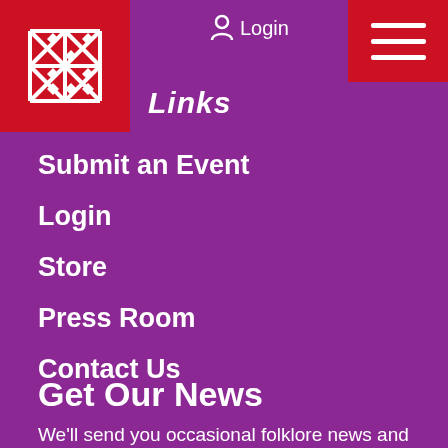Login
Links
Submit an Event
Login
Store
Press Room
Contact Us
Get Our News
We'll send you occasional folklore news and